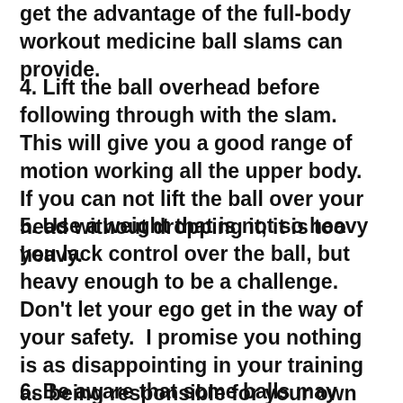get the advantage of the full-body workout medicine ball slams can provide.
4. Lift the ball overhead before following through with the slam.  This will give you a good range of motion working all the upper body.  If you can not lift the ball over your head without dropping it, it is too heavy.
5. Use a weight that is not so heavy you lack control over the ball, but heavy enough to be a challenge.  Don't let your ego get in the way of your safety.  I promise you nothing is as disappointing in your training as being responsible for your own inability to continue to train due to your own actions.
6. Be aware that some balls may bounce back.  Be